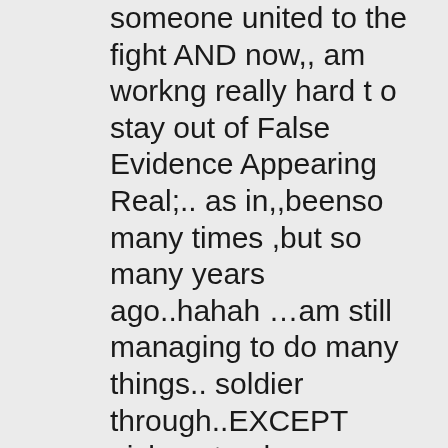someone united to the fight AND now,, am workng really hard t o stay out of False Evidence Appearing Real;.. as in,,beenso many times ,but so many years ago..hahah …am still managing to do many things.. soldier through..EXCEPT pick up trash , anyhting on floor, go into extreme vertigo.. And my knees.. like bowling balls..tping on a laptop in my lap..I don't want to go to chiro.. too harsh.. massage.. Do Not want to go to a doc